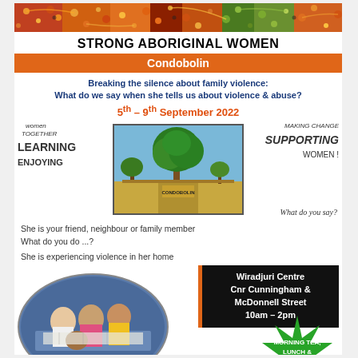[Figure (illustration): Aboriginal art banner with colorful dot patterns in red, orange, green, yellow tones at top of page]
STRONG ABORIGINAL WOMEN
Condobolin
Breaking the silence about family violence: What do we say when she tells us about violence & abuse?
5th – 9th September 2022
[Figure (photo): Decorative words around a central photo of Condobolin town with a large gum tree. Words: WOMEN TOGETHER, LEARNING, ENJOYING on the left; MAKING CHANGE, SUPPORTING, WOMEN!, What do you say? on the right.]
She is your friend, neighbour or family member
What do you do ...?
She is experiencing violence in her home
[Figure (photo): Oval-shaped photo of Aboriginal women at a workshop, working on materials on a table]
Wiradjuri Centre
Cnr Cunningham &
McDonnell Street
10am – 2pm
MORNING TEA, LUNCH & AFTERNOON TEA PROVIDED
Local Course Coordinator:
Sue Baxter ☎: 0424810319 ✉: Susan.Baxter@health.nsw.gov.au